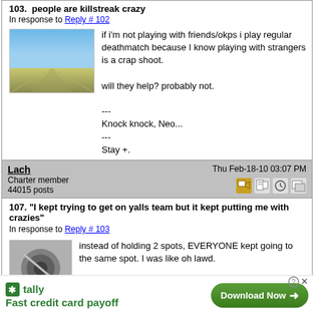103. people are killstreak crazy
In response to Reply # 102
if i'm not playing with friends/okps i play regular deathmatch because I know playing with strangers is a crap shoot.

will they help? probably not.

---
Knock knock, Neo...
---
Stay +.
---
Printer-friendly copy | Reply | Reply with quote | Top
Lach
Charter member
44015 posts
Thu Feb-18-10 03:07 PM
107. "I kept trying to get on yalls team but it kept putting me with crazies"
In response to Reply # 103
instead of holding 2 spots, EVERYONE kept going to the same spot. I was like oh lawd.
[Figure (infographic): Tally app advertisement banner: Fast credit card payoff with Download Now button]